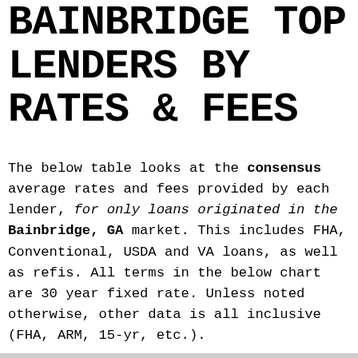BAINBRIDGE TOP LENDERS BY RATES & FEES
The below table looks at the consensus average rates and fees provided by each lender, for only loans originated in the Bainbridge, GA market. This includes FHA, Conventional, USDA and VA loans, as well as refis. All terms in the below chart are 30 year fixed rate. Unless noted otherwise, other data is all inclusive (FHA, ARM, 15-yr, etc.).